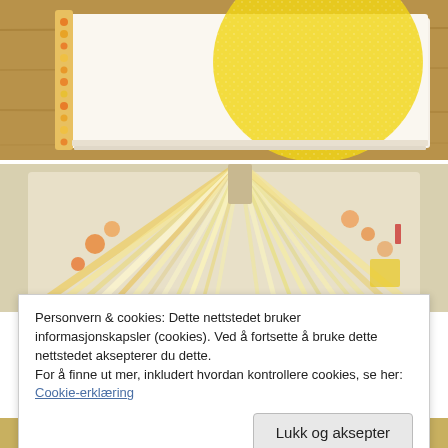[Figure (photo): Close-up photo of a handmade book or journal with yellow circle printed on white textured cover, lying on a wooden surface with orange-beaded binding visible on left side.]
[Figure (photo): Photo of a fan-spread open book/journal showing many colorful pages with orange and yellow patterns, spread in a fan shape on a light surface.]
Personvern & cookies: Dette nettstedet bruker informasjonskapsler (cookies). Ved å fortsette å bruke dette nettstedet aksepterer du dette.
For å finne ut mer, inkludert hvordan kontrollere cookies, se her: Cookie-erklæring
Lukk og aksepter